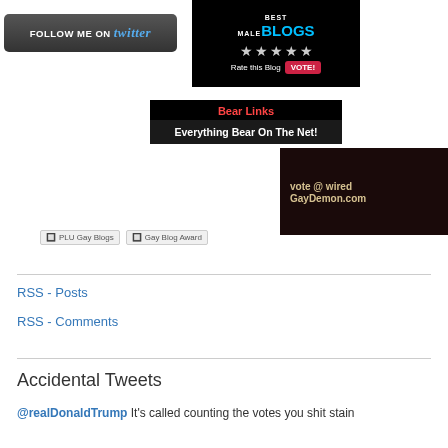[Figure (screenshot): Follow Me On Twitter button - dark grey rounded rectangle with white text and blue Twitter wordmark]
[Figure (screenshot): Best Male Blogs badge - black background with blue/white text and grey star rating, Rate this Blog VOTE button]
[Figure (screenshot): Bear Links box - black background, red title text 'Bear Links', white subtitle 'Everything Bear On The Net!']
[Figure (screenshot): GayDemon.com vote @ wired badge - dark background with tan/gold text and illustrated demon character]
[Figure (screenshot): PLU Gay Blogs badge image placeholder]
[Figure (screenshot): Gay Blog Award badge image placeholder]
RSS - Posts
RSS - Comments
Accidental Tweets
@realDonaldTrump It's called counting the votes you shit stain